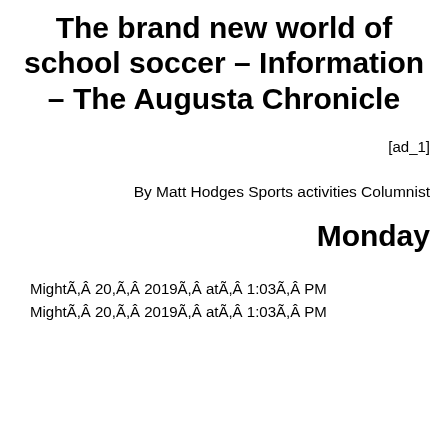The brand new world of school soccer – Information – The Augusta Chronicle
[ad_1]
By Matt Hodges Sports activities Columnist
Monday
MightÃ,Â 20,Ã,Â 2019Ã,Â atÃ,Â 1:03Ã,Â PM
MightÃ,Â 20,Ã,Â 2019Ã,Â atÃ,Â 1:03Ã,Â PM